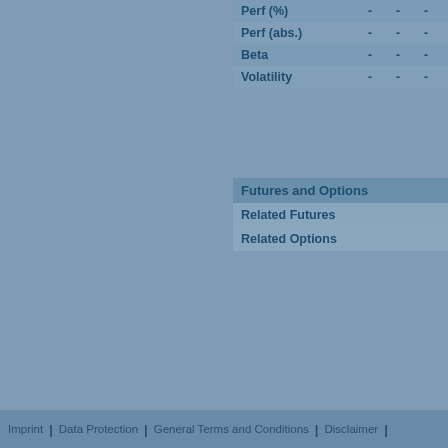|  |  |  |  |
| --- | --- | --- | --- |
| Perf (%) | - | - | - |
| Perf (abs.) | - | - | - |
| Beta | - | - | - |
| Volatility | - | - | - |
Futures and Options
Related Futures
Related Options
Imprint | Data Protection | General Terms and Conditions | Disclaimer